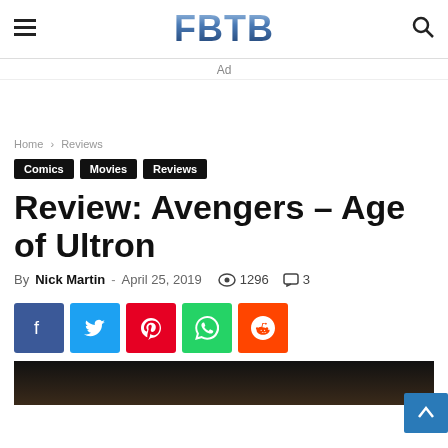FBTB
Ad
Home › Reviews
Comics   Movies   Reviews
Review: Avengers – Age of Ultron
By Nick Martin - April 25, 2019  1296  3
[Figure (other): Social share buttons: Facebook, Twitter, Pinterest, WhatsApp, Reddit]
[Figure (photo): Partially visible image at the bottom of the page, dark background]